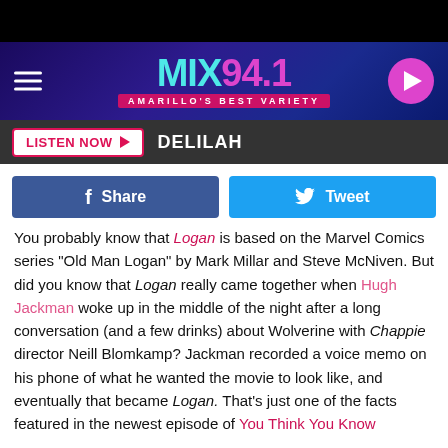[Figure (screenshot): MIX 94.1 radio station website header banner with logo, hamburger menu, and play button]
LISTEN NOW ▶  DELILAH
Share   Tweet
You probably know that Logan is based on the Marvel Comics series "Old Man Logan" by Mark Millar and Steve McNiven. But did you know that Logan really came together when Hugh Jackman woke up in the middle of the night after a long conversation (and a few drinks) about Wolverine with Chappie director Neill Blomkamp? Jackman recorded a voice memo on his phone of what he wanted the movie to look like, and eventually that became Logan. That's just one of the facts featured in the newest episode of You Think You Know